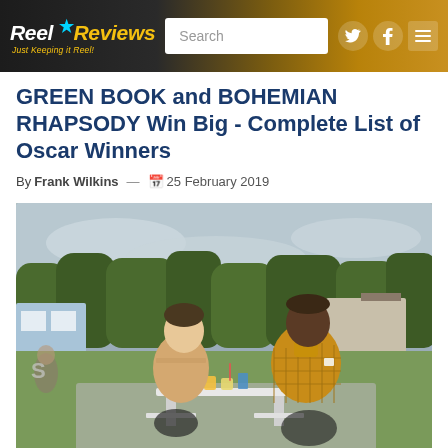Reel Reviews - Just Keeping it Reel! [Search] [Twitter] [Facebook] [Menu]
GREEN BOOK and BOHEMIAN RHAPSODY Win Big - Complete List of Oscar Winners
By Frank Wilkins — 25 February 2019
[Figure (photo): Scene from the movie Green Book showing two men sitting at an outdoor picnic table. One man (left) is white, wearing a beige sweater, and the other (right) is a Black man wearing a mustard/gold plaid blazer over a turtleneck. They appear to be in conversation at the table with cups and papers visible. Background shows trees and a blue building.]